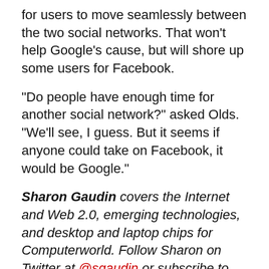for users to move seamlessly between the two social networks. That won't help Google's cause, but will shore up some users for Facebook.
"Do people have enough time for another social network?" asked Olds. "We'll see, I guess. But it seems if anyone could take on Facebook, it would be Google."
Sharon Gaudin covers the Internet and Web 2.0, emerging technologies, and desktop and laptop chips for Computerworld. Follow Sharon on Twitter at @sgaudin or subscribe to Sharon's RSS feed . Her e-mail address is